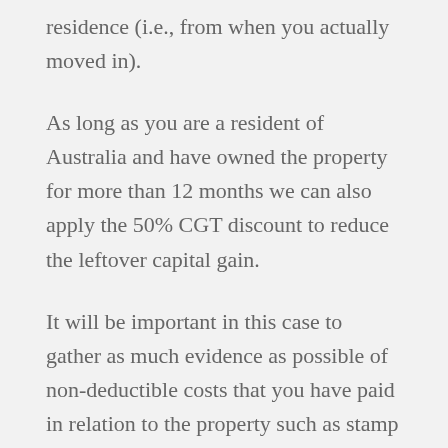residence (i.e., from when you actually moved in).
As long as you are a resident of Australia and have owned the property for more than 12 months we can also apply the 50% CGT discount to reduce the leftover capital gain.
It will be important in this case to gather as much evidence as possible of non-deductible costs that you have paid in relation to the property such as stamp duty, legal fees, commission paid to real estate agents, interest,